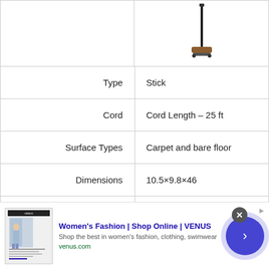[Figure (photo): Stick vacuum cleaner product image showing a tall narrow vacuum with a floor attachment head at the bottom]
| Type | Stick |
| Cord | Cord Length – 25 ft |
| Surface Types | Carpet and bare floor |
| Dimensions | 10.5×9.8×46 |
| Weight | 7.6 lbs |
[Figure (screenshot): Advertisement banner for Women's Fashion Shop Online VENUS with title, description 'Shop the best in women's fashion, clothing, swimwear', URL venus.com, a small website screenshot on the left, and a blue circular arrow button on the right]